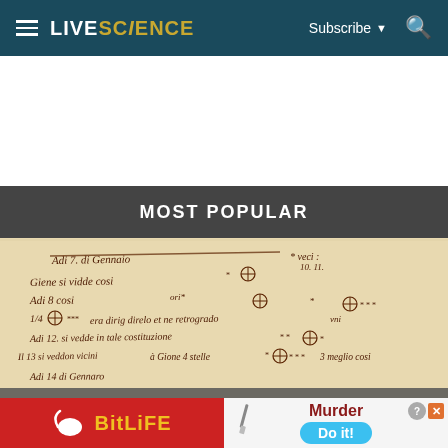LIVESCIENCE — Subscribe — Search
MOST POPULAR
[Figure (photo): A page of Galileo's handwritten manuscript notes in Italian, showing astronomical observations with drawings of Jupiter and its moons (represented by symbols), and handwritten text including dates such as 'Adi 7 di Gennaio', 'Adi 8 cosi', and descriptions of stellar/planetary positions.]
[Figure (other): Advertisement banner: Left half shows BitLife game ad with red background, sperm logo, and yellow BitLife text. Right half shows a game prompt with 'Murder' in dark red and 'Do it!' button in blue, with a knife illustration and close/help buttons.]